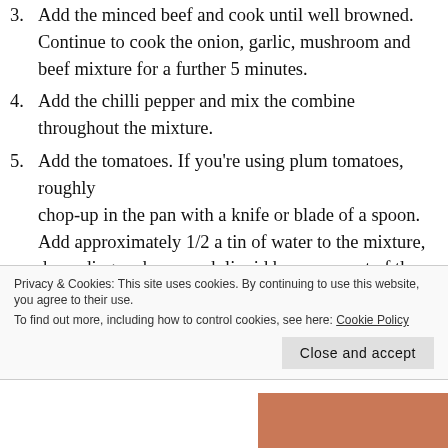3. Add the minced beef and cook until well browned. Continue to cook the onion, garlic, mushroom and beef mixture for a further 5 minutes.
4. Add the chilli pepper and mix the combine throughout the mixture.
5. Add the tomatoes. If you’re using plum tomatoes, roughly chop-up in the pan with a knife or blade of a spoon. Add approximately 1/2 a tin of water to the mixture, depending on how much liquid has come out of the beef and tomatoes.
Privacy & Cookies: This site uses cookies. By continuing to use this website, you agree to their use.
To find out more, including how to control cookies, see here: Cookie Policy
Close and accept